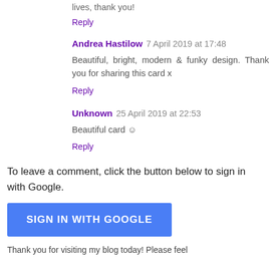lives, thank you!
Reply
Andrea Hastilow 7 April 2019 at 17:48
Beautiful, bright, modern & funky design. Thank you for sharing this card x
Reply
Unknown 25 April 2019 at 22:53
Beautiful card ☺
Reply
To leave a comment, click the button below to sign in with Google.
SIGN IN WITH GOOGLE
Thank you for visiting my blog today! Please feel